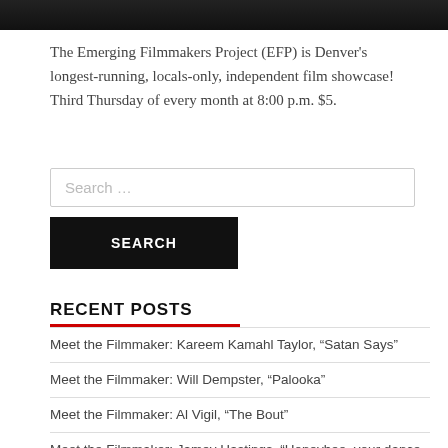[Figure (photo): Dark photo bar at the top of the page, partial image visible]
The Emerging Filmmakers Project (EFP) is Denver's longest-running, locals-only, independent film showcase! Third Thursday of every month at 8:00 p.m. $5.
Search …
SEARCH
RECENT POSTS
Meet the Filmmaker: Kareem Kamahl Taylor, “Satan Says”
Meet the Filmmaker: Will Dempster, “Palooka”
Meet the Filmmaker: Al Vigil, “The Bout”
Meet the Filmmaker: Jamey Hastings, “Honeybee, your dance partner is death”